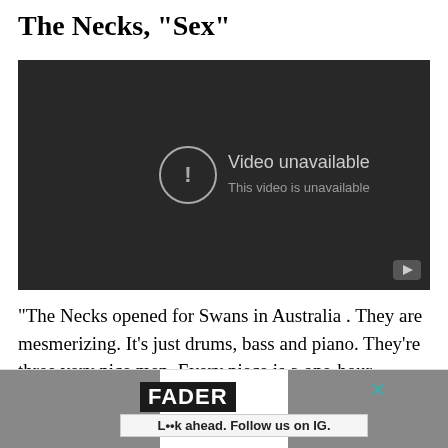The Necks, "Sex"
[Figure (screenshot): Embedded video player showing 'Video unavailable - This video is unavailable' message on a dark background with a YouTube play button in the bottom right corner.]
"The Necks opened for Swans in Australia . They are mesmerizing. It's just drums, bass and piano. They're three very nice men. Every piece is a one-hour improvisation. Now
[Figure (other): Advertisement banner showing FADER logo and text 'L••k ahead. Follow us on IG.' with dark photo backgrounds on left and right sides.]